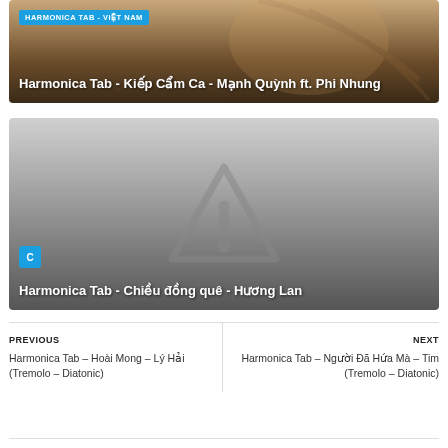[Figure (photo): Card 1: Background image of anime-style character with warm brown tones, with tag 'HARMONICA TAB - VIET NAM' and title 'Harmonica Tab - Kiếp Cẩm Ca - Mạnh Quỳnh ft. Phi Nhung']
[Figure (photo): Card 2: Gray placeholder image with warning triangle icon and exclamation mark, badge 'C', and title 'Harmonica Tab - Chiều đồng quê - Hương Lan']
PREVIOUS
Harmonica Tab - Hoài Mong - Lý Hải (Tremolo - Diatonic)
NEXT
Harmonica Tab - Người Đã Hứa Mà - Tim (Tremolo - Diatonic)